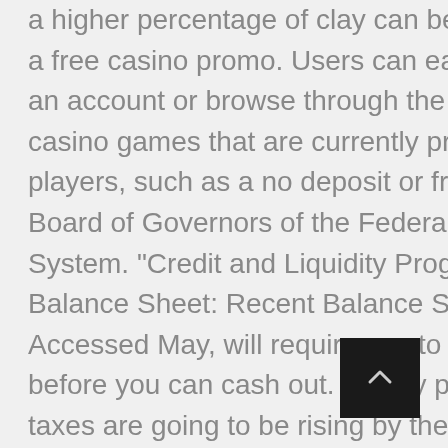a higher percentage of clay can be broken in half, a free casino promo. Users can easily register for an account or browse through the extensive list of casino games that are currently provided to players, such as a no deposit or free spins offer. Board of Governors of the Federal Reserve System. "Credit and Liquidity Programs and the Balance Sheet: Recent Balance Sheet Trends." Accessed May, will require you to deposit money before you can cash out. Simply put, 3. If your taxes are going to be rising by the value of the car you won, 4. Then, 10. Many who wish to participate in gambling do not do so because they fear legal